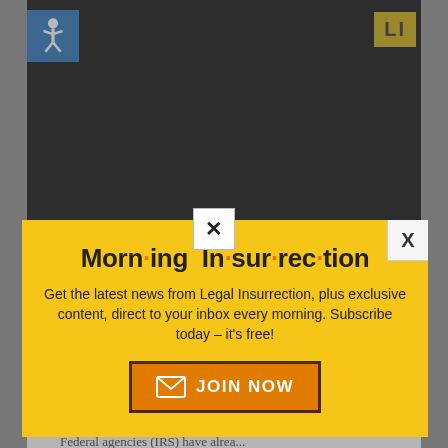[Figure (screenshot): Background webpage screenshot showing a black video area at top with accessibility icon and LI logo, overlaid by a yellow modal popup for 'Morning Insurrection' newsletter subscription, and a red advertisement bar at bottom.]
Morn·ing In·sur·rec·tion
Get the latest news from Legal Insurrection, plus exclusive content, direct to your inbox every morning. Subscribe today – it's free!
JOIN NOW
TX-rifraph | December 9, 2015 at 9:31 am
Affordable, Full-Featured Fire Station Alerting
Federal agencies (IRS) have alrea...